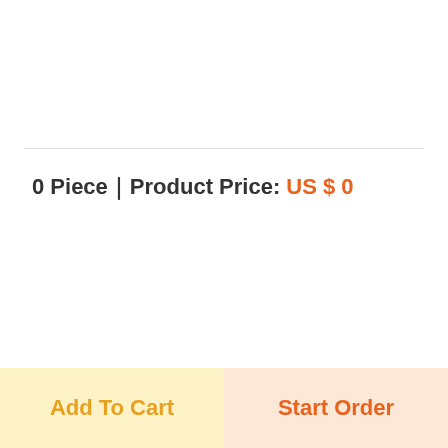0 Piece｜Product Price: US $ 0
✂ Lead Time｜/ days    ✈ Shipping time:/ days
Add To Cart
Start Order